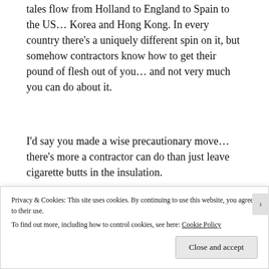tales flow from Holland to England to Spain to the US... Korea and Hong Kong. In every country there's a uniquely different spin on it, but somehow contractors know how to get their pound of flesh out of you... and not very much you can do about it.
I'd say you made a wise precautionary move... there's more a contractor can do than just leave cigarette butts in the insulation.
Hope it all works out well and look forward to the pics of the new place once it's completed.
Privacy & Cookies: This site uses cookies. By continuing to use this website, you agree to their use.
To find out more, including how to control cookies, see here: Cookie Policy